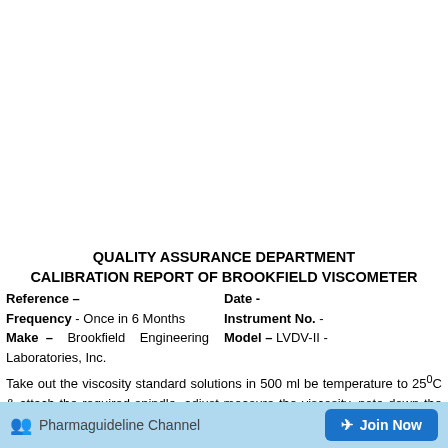QUALITY ASSURANCE DEPARTMENT
CALIBRATION REPORT OF BROOKFIELD VISCOMETER
Reference –                                                Date -
Frequency - Once in 6 Months                  Instrument No. -
Make – Brookfield Engineering Laboratories, Inc.      Model – LVDV-II -
Take out the viscosity standard solutions in 500 ml be temperature to 25°C & attach the required spindle, adjust measure the viscosity, note down the constant reading.
Pharmaguideline Channel   Join Now